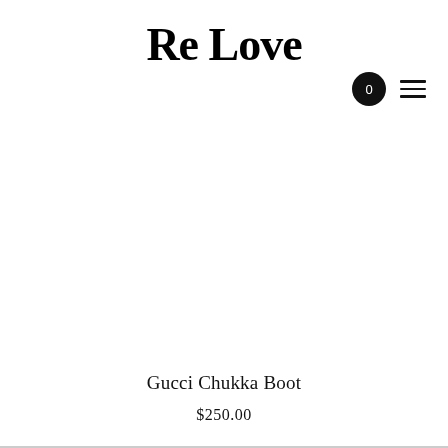Re Love
[Figure (screenshot): Navigation icons: a filled black circle with '0' inside (cart icon) and a hamburger menu (three horizontal lines) to the right]
[Figure (photo): Large white/empty product image area for Gucci Chukka Boot]
Gucci Chukka Boot
$250.00